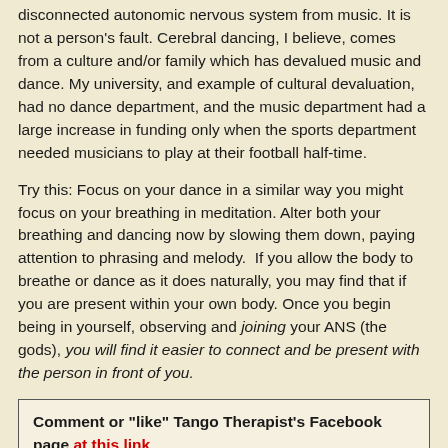disconnected autonomic nervous system from music. It is not a person's fault. Cerebral dancing, I believe, comes from a culture and/or family which has devalued music and dance. My university, and example of cultural devaluation, had no dance department, and the music department had a large increase in funding only when the sports department needed musicians to play at their football half-time.
Try this: Focus on your dance in a similar way you might focus on your breathing in meditation. Alter both your breathing and dancing now by slowing them down, paying attention to phrasing and melody.  If you allow the body to breathe or dance as it does naturally, you may find that if you are present within your own body. Once you begin being in yourself, observing and joining your ANS (the gods), you will find it easier to connect and be present with the person in front of you.
Comment or "like" Tango Therapist's Facebook page at this link
or